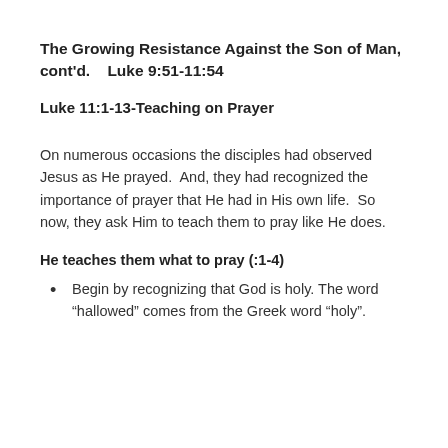The Growing Resistance Against the Son of Man, cont'd.    Luke 9:51-11:54
Luke 11:1-13-Teaching on Prayer
On numerous occasions the disciples had observed Jesus as He prayed.  And, they had recognized the importance of prayer that He had in His own life.  So now, they ask Him to teach them to pray like He does.
He teaches them what to pray (:1-4)
Begin by recognizing that God is holy. The word “hallowed” comes from the Greek word “holy”.